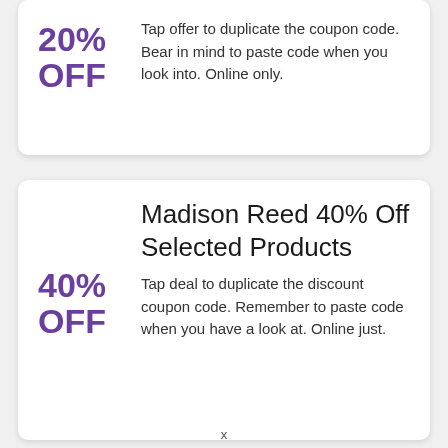20% OFF
Tap offer to duplicate the coupon code. Bear in mind to paste code when you look into. Online only.
Madison Reed 40% Off Selected Products
40% OFF
Tap deal to duplicate the discount coupon code. Remember to paste code when you have a look at. Online just.